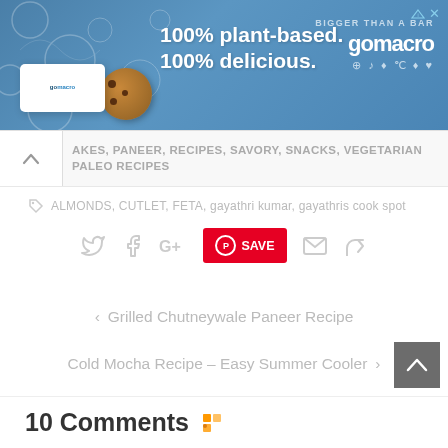[Figure (other): GoMacro advertisement banner: blue background with product image and text '100% plant-based. 100% delicious.' and GoMacro logo with tagline 'BIGGER THAN A BAR']
AKES, PANEER, RECIPES, SAVORY, SNACKS, VEGETARIAN PALEO RECIPES
ALMONDS, CUTLET, FETA, gayathri kumar, gayathris cook spot
Social share buttons: Twitter, Facebook, Google+, Pinterest SAVE, Email, Share
< Grilled Chutneywale Paneer Recipe
Cold Mocha Recipe – Easy Summer Cooler >
10 Comments